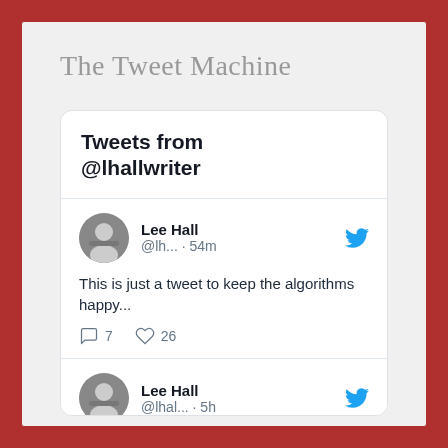The Tweet Machine
[Figure (screenshot): Twitter/X widget showing tweets from @lhallwriter. First tweet by Lee Hall (@lh... · 54m): 'This is just a tweet to keep the algorithms happy...' with 7 comments and 26 likes. Second tweet by Lee Hall (@lhal... · 5h): 'We made it to Friday! Have a good one tweeters 👍']